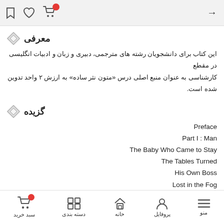toolbar with bookmark, heart, cart icons and arrow
معرفی
این کتاب برای دانشجویان رشته های مترجمی، دبیری و زبان و ادبیات انگلیسی در مقطع کارشناسی به عنوان منبع اصلی درس «متون نثر ساده» به ارزش ۲ واحد تدوین شده است.
گزیده
Preface
Part I : Man
The Baby Who Came to Stay
The Tables Turned
His Own Boss
Lost in the Fog
Shakespeare's Sister
The Problem That Has No Name
The Ascent of Man
Man on the Moon
Julius Caesar-Hero or Villain?
What Body Language Tells Us?
The Rewards of Living a Solitary Life
سبد خرید | دسته بندی | خانه | پروفایل | منو